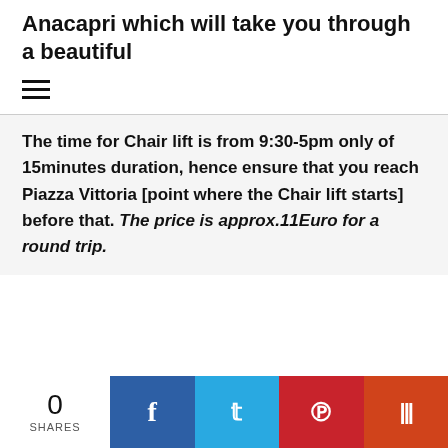Anacapri which will take you through a beautiful
The time for Chair lift is from 9:30-5pm only of 15minutes duration, hence ensure that you reach Piazza Vittoria [point where the Chair lift starts] before that. The price is approx.11Euro for a round trip.
0 SHARES | Facebook | Twitter | Pinterest | Mix